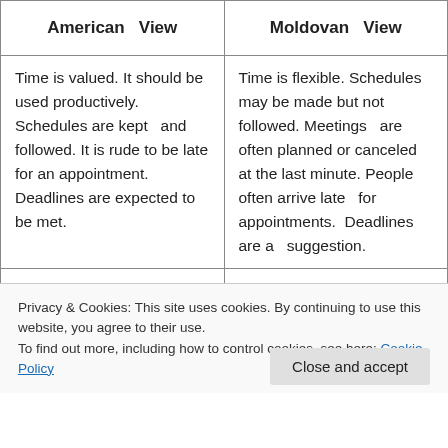| American   View | Moldovan   View |
| --- | --- |
| Time is valued. It should be used productively. Schedules are kept   and followed. It is rude to be late for an appointment. Deadlines are expected to be met. | Time is flexible. Schedules   may be made but not followed. Meetings   are often planned or canceled at the last minute. People often arrive late   for appointments.  Deadlines are a   suggestion. |
| encouraged. Mobility is | uncertainty.  Traditions |
Privacy & Cookies: This site uses cookies. By continuing to use this website, you agree to their use.
To find out more, including how to control cookies, see here: Cookie Policy